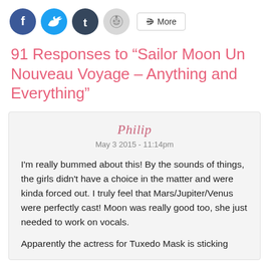[Figure (other): Social sharing buttons: Facebook (blue circle), Twitter (blue circle), Tumblr (dark blue circle), Reddit (light grey circle), and a More button with share icon]
91 Responses to “Sailor Moon Un Nouveau Voyage – Anything and Everything”
Philip
May 3 2015 - 11:14pm

I'm really bummed about this! By the sounds of things, the girls didn't have a choice in the matter and were kinda forced out. I truly feel that Mars/Jupiter/Venus were perfectly cast! Moon was really good too, she just needed to work on vocals.

Apparently the actress for Tuxedo Mask is sticking